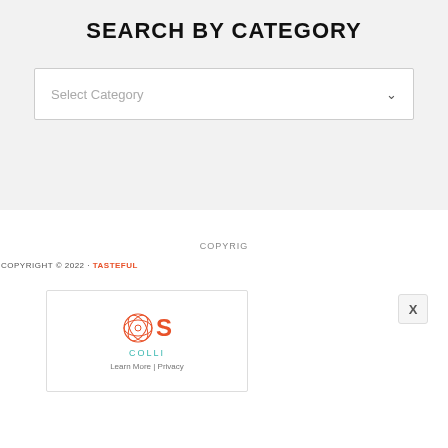SEARCH BY CATEGORY
[Figure (screenshot): Dropdown selector with placeholder text 'Select Category' and a chevron arrow on the right]
COPYRIG
COPYRIGHT © 2022 · TASTEFUL
[Figure (logo): Collectif-style logo with orange rose graphic, large orange S, teal text COLLI below]
Learn More | Privacy